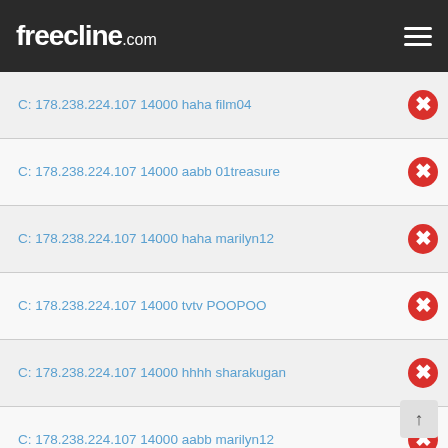freecline.com
C: 178.238.224.107 14000 haha film04
C: 178.238.224.107 14000 aabb 01treasure
C: 178.238.224.107 14000 haha marilyn12
C: 178.238.224.107 14000 tvtv POOPOO
C: 178.238.224.107 14000 hhhh sharakugan
C: 178.238.224.107 14000 aabb marilyn12
C: 178.238.224.107 14000 haha GRANDCANYONa
C: 178.238.224.107 14000 tvtv 999Toni1995
C: 178.238.224.107 14000 tvtv Tiger007w
C: 178.238.224.107 14000 haha 200107
C: 178.238.224.107 14000 koora 123456